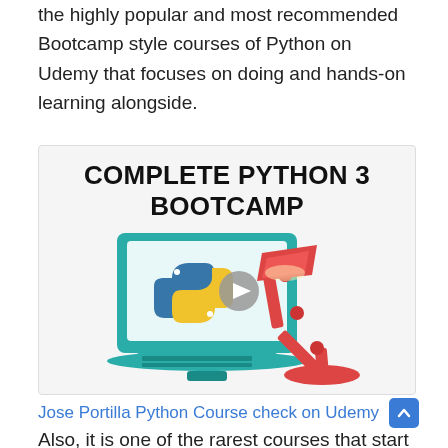the highly popular and most recommended Bootcamp style courses of Python on Udemy that focuses on doing and hands-on learning alongside.
[Figure (illustration): Course thumbnail for 'Complete Python 3 Bootcamp' showing a laptop with the Python logo and a desk lamp illustration]
Jose Portilla Python Course check on Udemy
Also, it is one of the rarest courses that start with